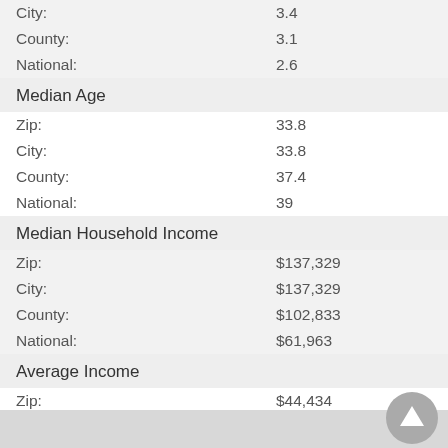City: 3.4
County: 3.1
National: 2.6
Median Age
Zip: 33.8
City: 33.8
County: 37.4
National: 39
Median Household Income
Zip: $137,329
City: $137,329
County: $102,833
National: $61,963
Average Income
Zip: $44,434
City: $44,434
County: $39,860
National: $33,235